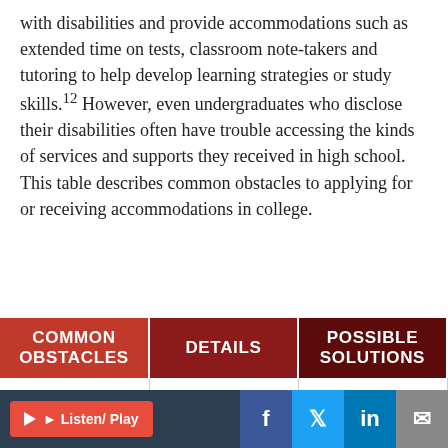with disabilities and provide accommodations such as extended time on tests, classroom note-takers and tutoring to help develop learning strategies or study skills.12 However, even undergraduates who disclose their disabilities often have trouble accessing the kinds of services and supports they received in high school. This table describes common obstacles to applying for or receiving accommodations in college.
| COMMON OBSTACLES | DETAILS | POSSIBLE SOLUTIONS |
| --- | --- | --- |
| Lack of | In an unpublished | The RISE Act, |
Listen/ Play | f | in | [email]